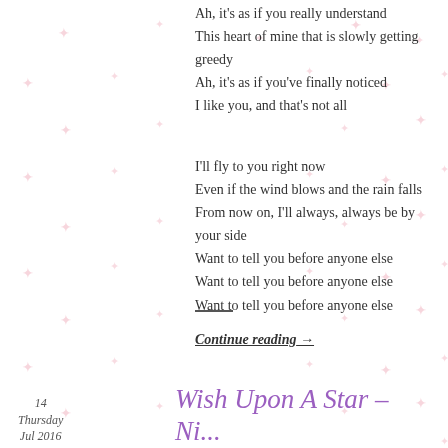Ah, it's as if you really understand
This heart of mine that is slowly getting greedy
Ah, it's as if you've finally noticed
I like you, and that's not all
I'll fly to you right now
Even if the wind blows and the rain falls
From now on, I'll always, always be by your side
Want to tell you before anyone else
Want to tell you before anyone else
Want to tell you before anyone else
Continue reading →
14
Thursday
Jul 2016
Wish Upon A Star – Ni...